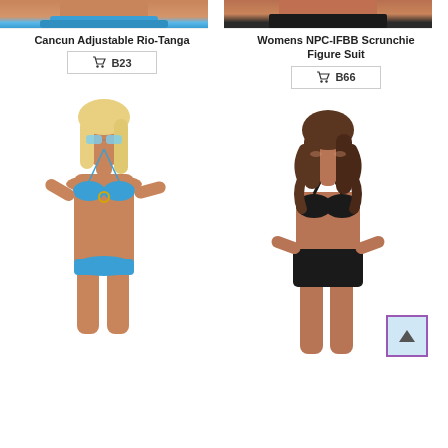[Figure (photo): Cropped top portion of model wearing blue bikini bottom (Cancun Adjustable Rio-Tanga)]
Cancun Adjustable Rio-Tanga
🛒 B23
[Figure (photo): Cropped top portion of model wearing NPC-IFBB Scrunchie Figure Suit]
Womens NPC-IFBB Scrunchie Figure Suit
🛒 B66
[Figure (photo): Blonde woman wearing blue metallic bikini with sunglasses]
[Figure (photo): Brunette woman wearing black bikini top and high-waist black bottoms]